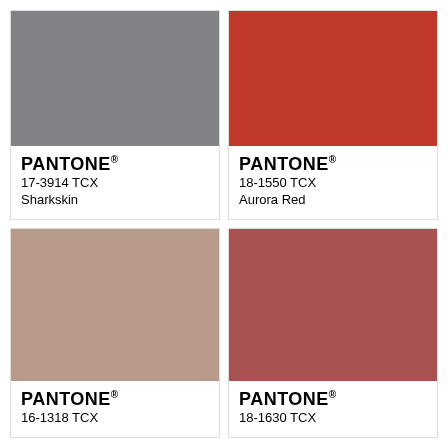[Figure (other): Pantone color swatch card: 17-3914 TCX Sharkskin (medium gray color block with white label area showing PANTONE® 17-3914 TCX Sharkskin)]
[Figure (other): Pantone color swatch card: 18-1550 TCX Aurora Red (bright red-orange color block with white label area showing PANTONE® 18-1550 TCX Aurora Red)]
[Figure (other): Pantone color swatch card: 16-1318 TCX (warm taupe/tan color block with white label area showing PANTONE® 16-1318 TCX)]
[Figure (other): Pantone color swatch card: 18-1630 TCX (muted rose/mauve red color block with white label area showing PANTONE® 18-1630 TCX)]